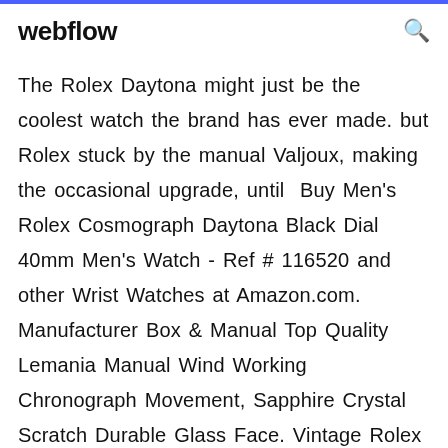webflow
The Rolex Daytona might just be the coolest watch the brand has ever made. but Rolex stuck by the manual Valjoux, making the occasional upgrade, until  Buy Men's Rolex Cosmograph Daytona Black Dial 40mm Men's Watch - Ref # 116520 and other Wrist Watches at Amazon.com. Manufacturer Box & Manual Top Quality Lemania Manual Wind Working Chronograph Movement, Sapphire Crystal Scratch Durable Glass Face. Vintage Rolex Daytona in stainless steel. Manual w/ subseconds and chronograph. Ref 6239. Circa 1960's. Fine Pre-owned Rolex Watch. Certified preowned. 3 Dec 2019 Introduced in 1969 and